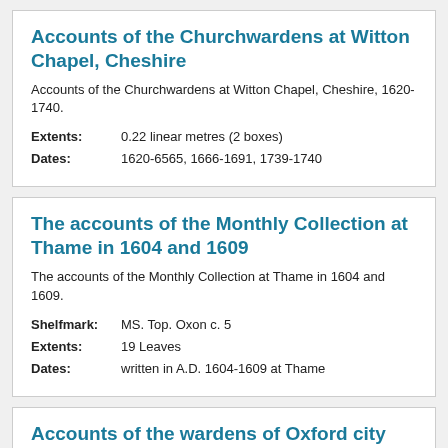Accounts of the Churchwardens at Witton Chapel, Cheshire
Accounts of the Churchwardens at Witton Chapel, Cheshire, 1620-1740.
Extents: 0.22 linear metres (2 boxes)
Dates: 1620-6565, 1666-1691, 1739-1740
The accounts of the Monthly Collection at Thame in 1604 and 1609
The accounts of the Monthly Collection at Thame in 1604 and 1609.
Shelfmark: MS. Top. Oxon c. 5
Extents: 19 Leaves
Dates: written in A.D. 1604-1609 at Thame
Accounts of the wardens of Oxford city Company of Tailors
Accounts of the wardens of Oxford city Company of Tailors...